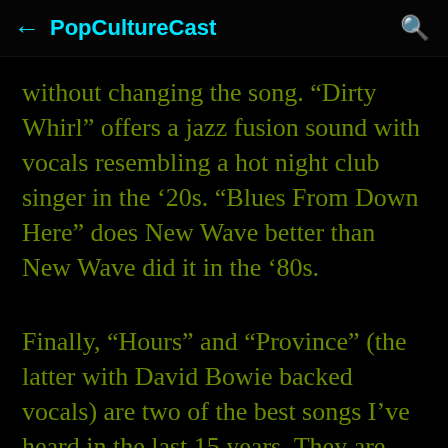PopCultureCast
without changing the song. “Dirty Whirl” offers a jazz fusion sound with vocals resembling a hot night club singer in the ’20s. “Blues From Down Here” does New Wave better than New Wave did it in the ’80s.
Finally, “Hours” and “Province” (the latter with David Bowie backed vocals) are two of the best songs I’ve heard in the last 15 years. They are beautifully written and